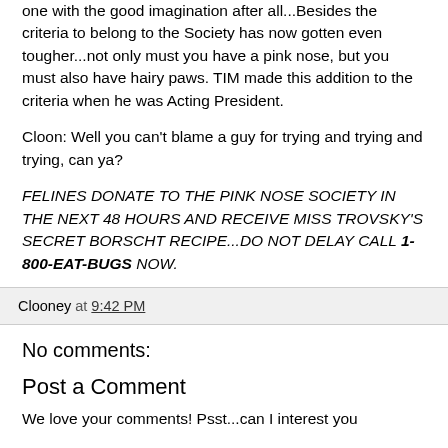one with the good imagination after all...Besides the criteria to belong to the Society has now gotten even tougher...not only must you have a pink nose, but you must also have hairy paws. TIM made this addition to the criteria when he was Acting President.
Cloon: Well you can't blame a guy for trying and trying and trying, can ya?
FELINES DONATE TO THE PINK NOSE SOCIETY IN THE NEXT 48 HOURS AND RECEIVE MISS TROVSKY'S SECRET BORSCHT RECIPE...DO NOT DELAY CALL 1-800-EAT-BUGS NOW.
Clooney at 9:42 PM
No comments:
Post a Comment
We love your comments! Psst...can I interest you